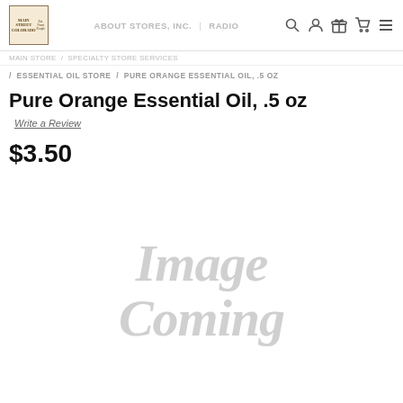Main Street Colorado (logo) | nav links | search, account, gift, cart, menu icons
/ ESSENTIAL OIL STORE / PURE ORANGE ESSENTIAL OIL, .5 OZ
Pure Orange Essential Oil, .5 oz
Write a Review
$3.50
[Figure (illustration): Image Coming placeholder graphic with large light gray italic text reading 'Image Coming']